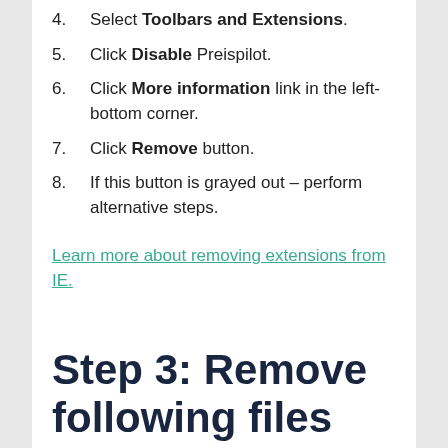4. Select Toolbars and Extensions.
5. Click Disable Preispilot.
6. Click More information link in the left-bottom corner.
7. Click Remove button.
8. If this button is grayed out – perform alternative steps.
Learn more about removing extensions from IE.
Step 3: Remove following files and